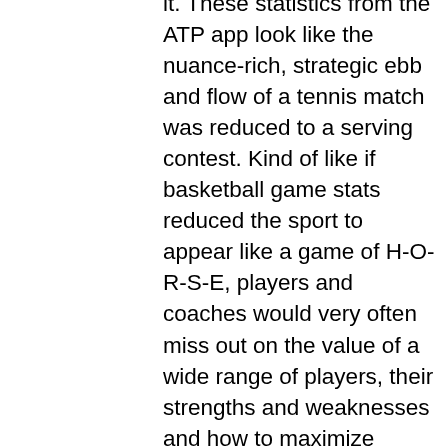it.  These statistics from the ATP app look like the nuance-rich, strategic ebb and flow of a tennis match was reduced to a serving contest.  Kind of like if basketball game stats reduced the sport to appear like a game of H-O-R-S-E, players and coaches would very often miss out on the value of a wide range of players, their strengths and weaknesses and how to maximize performance.
And yet, with all the benefits of analytics derived from video that we have seen in other sports, the typical competitive tennis player has not accessed video or reliable, useful data